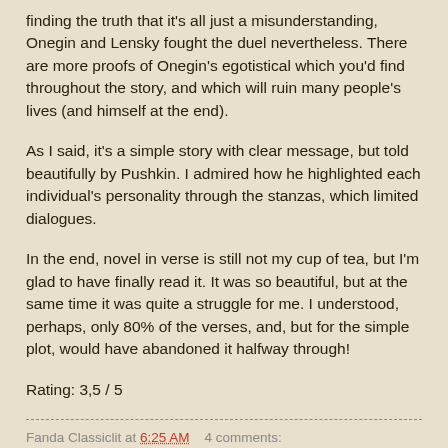finding the truth that it's all just a misunderstanding, Onegin and Lensky fought the duel nevertheless. There are more proofs of Onegin's egotistical which you'd find throughout the story, and which will ruin many people's lives (and himself at the end).
As I said, it's a simple story with clear message, but told beautifully by Pushkin. I admired how he highlighted each individual's personality through the stanzas, which limited dialogues.
In the end, novel in verse is still not my cup of tea, but I'm glad to have finally read it. It was so beautiful, but at the same time it was quite a struggle for me. I understood, perhaps, only 80% of the verses, and, but for the simple plot, would have abandoned it halfway through!
Rating: 3,5 / 5
Fanda Classiclit at 6:25 AM    4 comments: